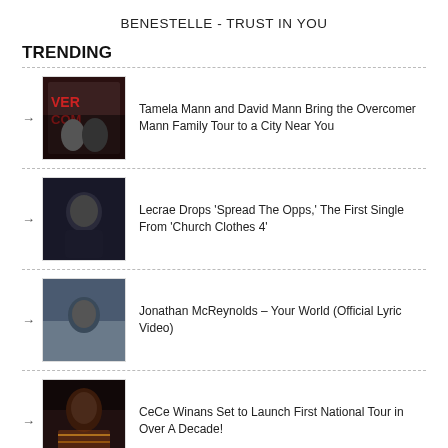BENESTELLE - TRUST IN YOU
TRENDING
Tamela Mann and David Mann Bring the Overcomer Mann Family Tour to a City Near You
Lecrae Drops ‘Spread The Opps,’ The First Single From ‘Church Clothes 4’
Jonathan McReynolds – Your World (Official Lyric Video)
CeCe Winans Set to Launch First National Tour in Over A Decade!